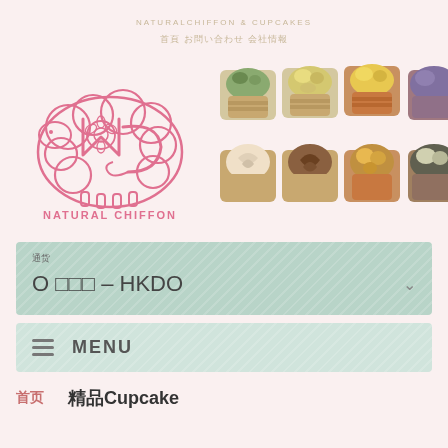NATURALCHIFFON & CUPCAKES
首頁  お問い合わせ  会社情報
[Figure (logo): Natural Chiffon bakery logo - pink cursive Mc letters with floral design and text NATURAL CHIFFON]
[Figure (photo): Array of decorated cupcakes arranged in two rows of four, with various frosting colors including green, yellow, white, chocolate and purple]
通货
O ＊＊＊ – HKDO
≡  MENU
首页    精品Cupcake